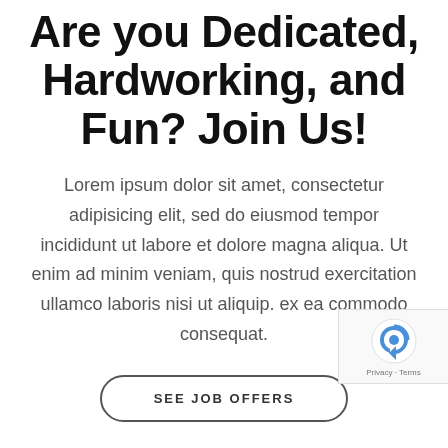Are you Dedicated, Hardworking, and Fun? Join Us!
Lorem ipsum dolor sit amet, consectetur adipisicing elit, sed do eiusmod tempor incididunt ut labore et dolore magna aliqua. Ut enim ad minim veniam, quis nostrud exercitation ullamco laboris nisi ut aliquip. ex ea commodo consequat.
SEE JOB OFFERS